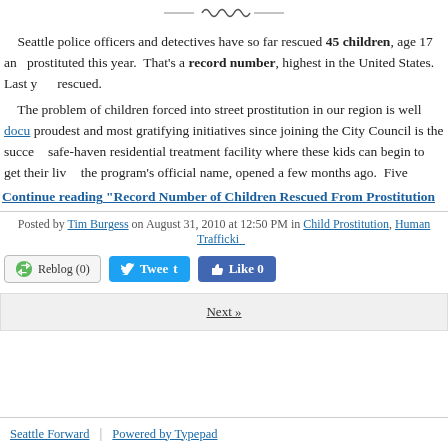[Figure (other): Decorative divider with wavy/ornamental line]
Seattle police officers and detectives have so far rescued 45 children, age 17 and younger, forced into prostitution this year. That's a record number, highest in the United States. Last year, [number] were rescued.
The problem of children forced into street prostitution in our region is well docu... One of my proudest and most gratifying initiatives since joining the City Council is the success of... safe-haven residential treatment facility where these kids can begin to get their lives back... the program's official name, opened a few months ago. Five
Continue reading "Record Number of Children Rescued From Prostitution..."
Posted by Tim Burgess on August 31, 2010 at 12:50 PM in Child Prostitution, Human Trafficking...
Reblog (0)  Tweet  Like 0
Next »
Seattle Forward | Powered by Typepad